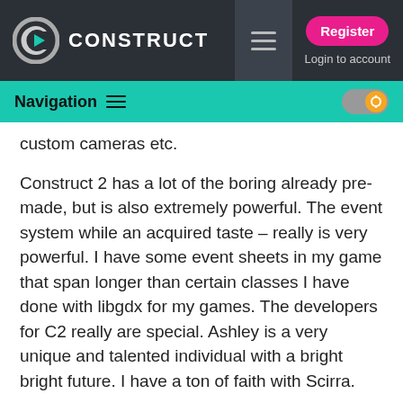CONSTRUCT — Register | Login to account | Navigation
custom cameras etc.
Construct 2 has a lot of the boring already pre-made, but is also extremely powerful. The event system while an acquired taste – really is very powerful. I have some event sheets in my game that span longer than certain classes I have done with libgdx for my games. The developers for C2 really are special. Ashley is a very unique and talented individual with a bright bright future. I have a ton of faith with Scirra.
Clickteam fusion? I mean really? It is so outdated and not even in the same league anymore. I do not